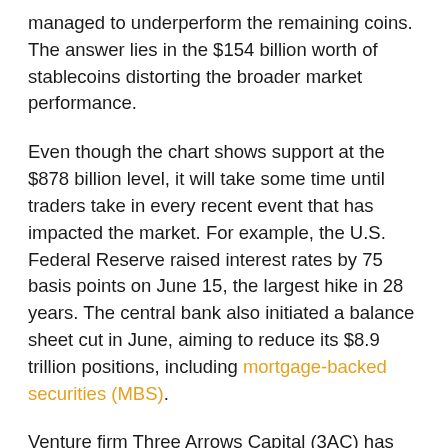managed to underperform the remaining coins. The answer lies in the $154 billion worth of stablecoins distorting the broader market performance.
Even though the chart shows support at the $878 billion level, it will take some time until traders take in every recent event that has impacted the market. For example, the U.S. Federal Reserve raised interest rates by 75 basis points on June 15, the largest hike in 28 years. The central bank also initiated a balance sheet cut in June, aiming to reduce its $8.9 trillion positions, including mortgage-backed securities (MBS).
Venture firm Three Arrows Capital (3AC) has reportedly failed to meet margin calls from its lenders, raising high major insolvency red flags across the industry. The firm's heavy exposure to Grayscale Bitcoin Trust (GBTC) and Lido's Staked ETH (stETH) was partially responsible for the mass...